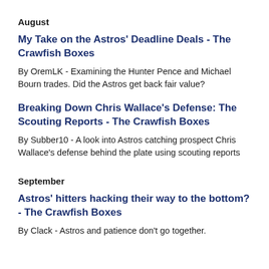August
My Take on the Astros' Deadline Deals - The Crawfish Boxes
By OremLK - Examining the Hunter Pence and Michael Bourn trades. Did the Astros get back fair value?
Breaking Down Chris Wallace's Defense: The Scouting Reports - The Crawfish Boxes
By Subber10 - A look into Astros catching prospect Chris Wallace's defense behind the plate using scouting reports
September
Astros' hitters hacking their way to the bottom? - The Crawfish Boxes
By Clack - Astros and patience don't go together.